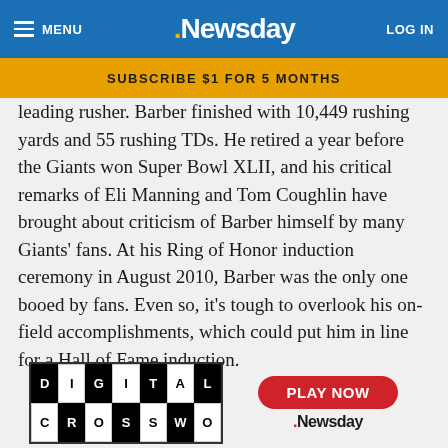MENU | Newsday | LOG IN
SUBSCRIBE $1 FOR 5 MONTHS
leading rusher. Barber finished with 10,449 rushing yards and 55 rushing TDs. He retired a year before the Giants won Super Bowl XLII, and his critical remarks of Eli Manning and Tom Coughlin have brought about criticism of Barber himself by many Giants' fans. At his Ring of Honor induction ceremony in August 2010, Barber was the only one booed by fans. Even so, it's tough to overlook his on-field accomplishments, which could put him in line for a Hall of Fame induction.
[Figure (other): Digital Crossword advertisement banner with Play Now button and Newsday logo]